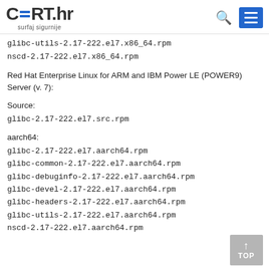CERT.hr surfaj sigurnije
glibc-utils-2.17-222.el7.x86_64.rpm
nscd-2.17-222.el7.x86_64.rpm
Red Hat Enterprise Linux for ARM and IBM Power LE (POWER9) Server (v. 7):
Source:
glibc-2.17-222.el7.src.rpm
aarch64:
glibc-2.17-222.el7.aarch64.rpm
glibc-common-2.17-222.el7.aarch64.rpm
glibc-debuginfo-2.17-222.el7.aarch64.rpm
glibc-devel-2.17-222.el7.aarch64.rpm
glibc-headers-2.17-222.el7.aarch64.rpm
glibc-utils-2.17-222.el7.aarch64.rpm
nscd-2.17-222.el7.aarch64.rpm